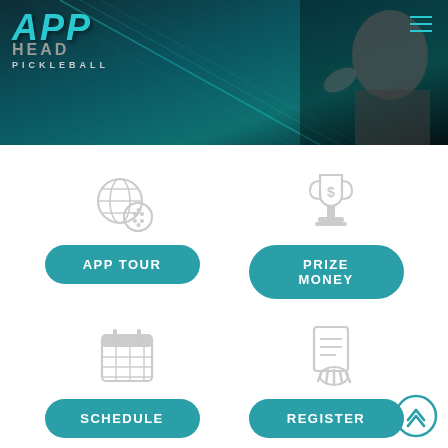[Figure (screenshot): Hero banner with APP Tour and HEAD Pickleball logos on dark teal background with a player silhouette on the right and hamburger menu icon in the top right corner]
[Figure (illustration): Globe and pickleball icon (teal outline style)]
[Figure (illustration): Trophy with dollar sign icon (gray outline style)]
[Figure (illustration): Calendar/schedule icon (gray outline style)]
[Figure (illustration): Registration/clipboard with hand icon (gray outline style)]
APP TOUR
PRIZE MONEY
SCHEDULE
REGISTER